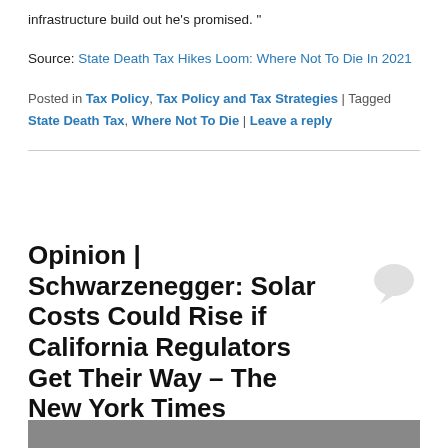infrastructure build out he's promised. "
Source: State Death Tax Hikes Loom: Where Not To Die In 2021
Posted in Tax Policy, Tax Policy and Tax Strategies | Tagged State Death Tax, Where Not To Die | Leave a reply
Opinion | Schwarzenegger: Solar Costs Could Rise if California Regulators Get Their Way – The New York Times
Posted on January 18, 2022